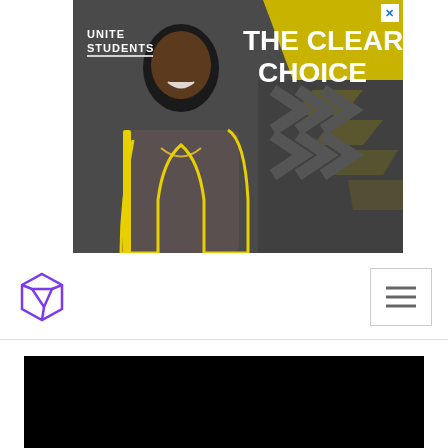[Figure (photo): Unite Students advertisement banner showing a young man smiling, with 'UNITE STUDENTS' logo on the left and 'THE CLEAR CHOICE' text on the right against a yellow and grey geometric background. A close button (X) appears in the top-right corner.]
[Figure (logo): Purple geometric hexagonal logo icon for a website navigation bar, on the left side of the navbar.]
[Figure (screenshot): Hamburger menu button (three horizontal lines) in a bordered box on the right side of the navbar.]
[Figure (photo): Black rectangular panel at the bottom of the page, likely a video player or content area.]